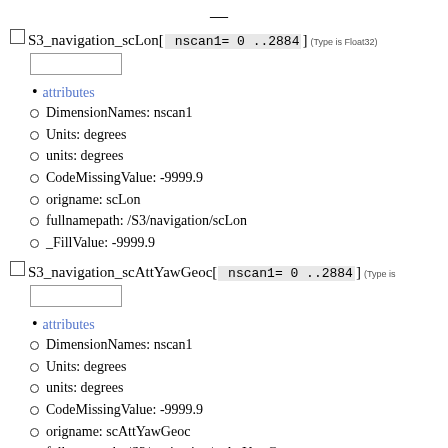—
S3_navigation_scLon[ nscan1= 0 ..2884] (Type is Float32)
attributes
DimensionNames: nscan1
Units: degrees
units: degrees
CodeMissingValue: -9999.9
origname: scLon
fullnamepath: /S3/navigation/scLon
_FillValue: -9999.9
S3_navigation_scAttYawGeoc[ nscan1= 0 ..2884] (Type is Float32)
attributes
DimensionNames: nscan1
Units: degrees
units: degrees
CodeMissingValue: -9999.9
origname: scAttYawGeoc
fullnamepath: /S3/navigation/scAttYawGeoc
_FillValue: -9999.9
S3_navigation_scAttPitchGeoc[ nscan1= 0 ..2884] (Type is Float32)